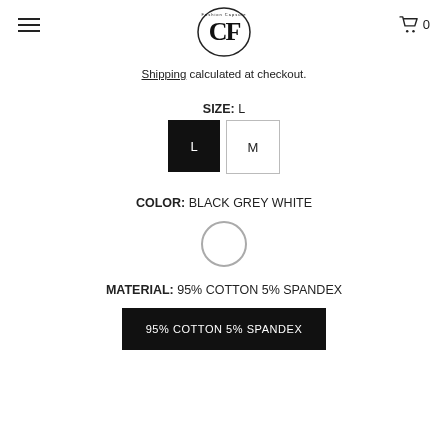[Figure (logo): Fashion Capsule logo with stylized CF letters]
Shipping calculated at checkout.
SIZE:  L
[Figure (infographic): Size selector with L (black/selected) and M (white/unselected) buttons]
COLOR:  BLACK GREY WHITE
[Figure (infographic): Color swatch circle (white with black border)]
MATERIAL:  95% COTTON 5% SPANDEX
[Figure (infographic): Black button with white text: 95% COTTON 5% SPANDEX]